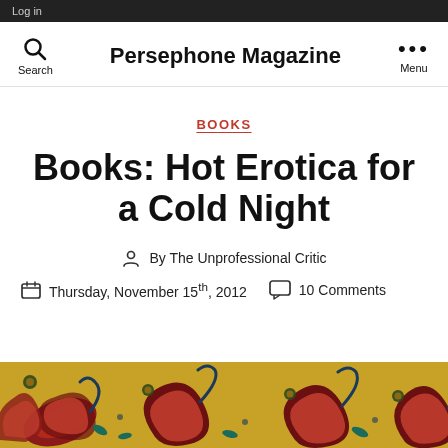Log in
Persephone Magazine
BOOKS
Books: Hot Erotica for a Cold Night
By The Unprofessional Critic
Thursday, November 15th, 2012   10 Comments
[Figure (photo): Paisley fabric pattern in yellow, red, dark blue and green colors at the bottom of the page]